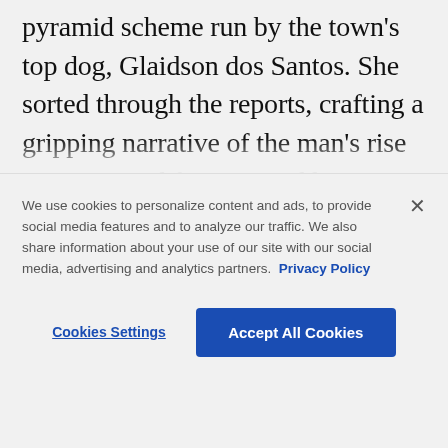pyramid scheme run by the town's top dog, Glaidson dos Santos. She sorted through the reports, crafting a gripping narrative of the man's rise to power and fortune, and his eventual imprisonment. But she also discovered the story was more complex, with many of dos Santos' former clients swearing that he was being wrongly accused for having the audacity to [continues below fold]
We use cookies to personalize content and ads, to provide social media features and to analyze our traffic. We also share information about your use of our site with our social media, advertising and analytics partners. Privacy Policy
Cookies Settings | Accept All Cookies